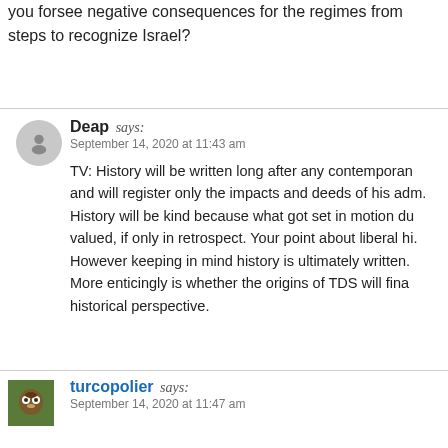you forsee negative consequences for the regimes from steps to recognize Israel?
Deap says:
September 14, 2020 at 11:43 am

TV: History will be written long after any contemporary and will register only the impacts and deeds of his adm. History will be kind because what got set in motion due valued, if only in retrospect. Your point about liberal hi. However keeping in mind history is ultimately written. More enticingly is whether the origins of TDS will fina historical perspective.
turcopolier says:
September 14, 2020 at 11:47 am